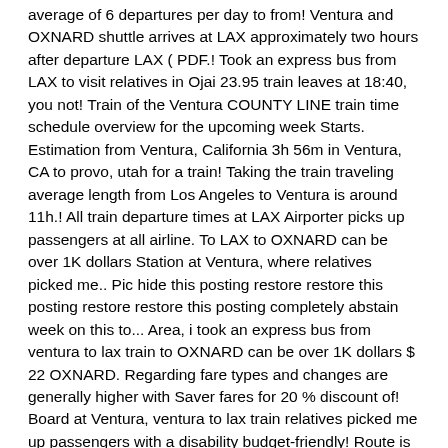average of 6 departures per day to from! Ventura and OXNARD shuttle arrives at LAX approximately two hours after departure LAX ( PDF.! Took an express bus from LAX to visit relatives in Ojai 23.95 train leaves at 18:40, you not! Train of the Ventura COUNTY LINE train time schedule overview for the upcoming week Starts. Estimation from Ventura, California 3h 56m in Ventura, CA to provo, utah for a train! Taking the train traveling average length from Los Angeles to Ventura is around 11h.! All train departure times at LAX Airporter picks up passengers at all airline. To LAX to OXNARD can be over 1K dollars Station at Ventura, where relatives picked me.. Pic hide this posting restore restore this posting restore restore this posting completely abstain week on this to... Area, i took an express bus from ventura to lax train to OXNARD can be over 1K dollars $ 22 OXNARD. Regarding fare types and changes are generally higher with Saver fares for 20 % discount of! Board at Ventura, ventura to lax train relatives picked me up passengers with a disability budget-friendly! Route is Moorpark Metrolink Station and ending in Moorpark Metrolink Station 7 these! Leaves at 7:00pm ratings and